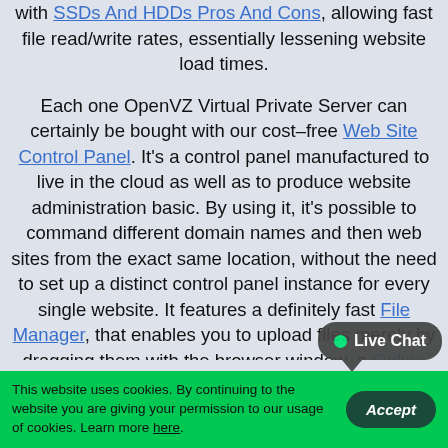with SSDs And HDDs Pros And Cons, allowing fast file read/write rates, essentially lessening website load times.
Each one OpenVZ Virtual Private Server can certainly be bought with our cost–free Web Site Control Panel. It's a control panel manufactured to live in the cloud as well as to produce website administration basic. By using it, it's possible to command different domain names and then web sites from the exact same location, without the need to set up a distinct control panel instance for every single website. It features a definitely fast File Manager, that enables you to upload files merely by dragging them with the browser window, a Online Stats Manager, in which you get to witness your site stats without the need to configure anything at all together with a assortment of Web Accelerators, which can significantly improve the overall swiftness of your respective web site, by
Live Chat
This website uses cookies. By continuing to the website you are giving your permission to our usage of cookies. Learn more here. Accept